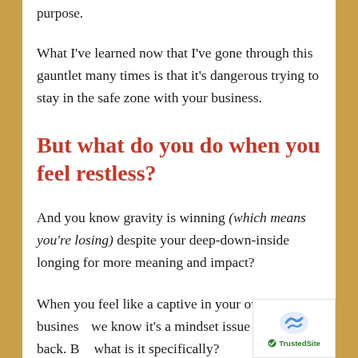purpose.
What I've learned now that I've gone through this gauntlet many times is that it's dangerous trying to stay in the safe zone with your business.
But what do you do when you feel restless?
And you know gravity is winning (which means you're losing) despite your deep-down-inside longing for more meaning and impact?
When you feel like a captive in your own business, we know it's a mindset issue holding you back. But what is it specifically?
[Figure (logo): TrustedSite security badge with reCAPTCHA icon]